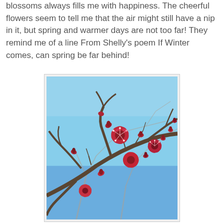blossoms always fills me with happiness. The cheerful flowers seem to tell me that the air might still have a nip in it, but spring and warmer days are not too far! They remind me of a line From Shelly's poem If Winter comes, can spring be far behind!
[Figure (photo): Close-up photograph of red/pink plum blossoms (cherry-like flowers) on bare branches against a bright blue sky. The flowers are vivid crimson-pink with visible stamens, shown in early spring bloom.]